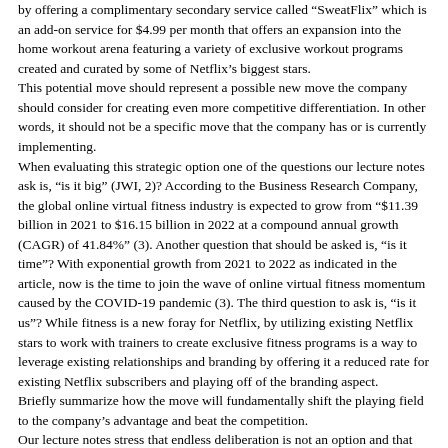by offering a complimentary secondary service called "SweatFlix" which is an add-on service for $4.99 per month that offers an expansion into the home workout arena featuring a variety of exclusive workout programs created and curated by some of Netflix's biggest stars.
This potential move should represent a possible new move the company should consider for creating even more competitive differentiation.  In other words, it should not be a specific move that the company has or is currently implementing.
When evaluating this strategic option one of the questions our lecture notes ask is, "is it big" (JWI, 2)?  According to the Business Research Company, the global online virtual fitness industry is expected to grow from "$11.39 billion in 2021 to $16.15 billion in 2022 at a compound annual growth (CAGR) of 41.84%" (3).  Another question that should be asked is, "is it time"?  With exponential growth from 2021 to 2022 as indicated in the article, now is the time to join the wave of online virtual fitness momentum caused by the COVID-19 pandemic (3).  The third question to ask is, "is it us"?  While fitness is a new foray for Netflix, by utilizing existing Netflix stars to work with trainers to create exclusive fitness programs is a way to leverage existing relationships and branding by offering it a reduced rate for existing Netflix subscribers and playing off of the branding aspect.
Briefly summarize how the move will fundamentally shift the playing field to the company's advantage and beat the competition.
Our lecture notes stress that endless deliberation is not an option and that strategic